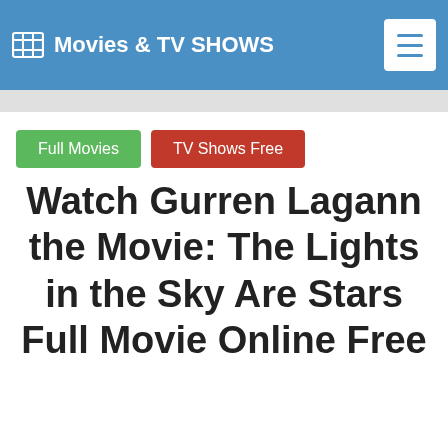Movies & TV SHOWS
Full Movies
TV Shows Free
Watch Gurren Lagann the Movie: The Lights in the Sky Are Stars Full Movie Online Free